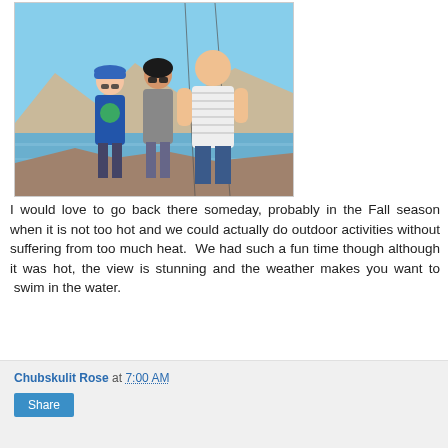[Figure (photo): Three people (a boy in a blue cap and colorful shirt, a teenage girl in sunglasses and gray shirt, and a tall man in a striped white shirt and jeans) standing outdoors in front of a lake and mountain landscape under a blue sky.]
I would love to go back there someday, probably in the Fall season when it is not too hot and we could actually do outdoor activities without suffering from too much heat.  We had such a fun time though although it was hot, the view is stunning and the weather makes you want to  swim in the water.
Chubskulit Rose at 7:00 AM
Share